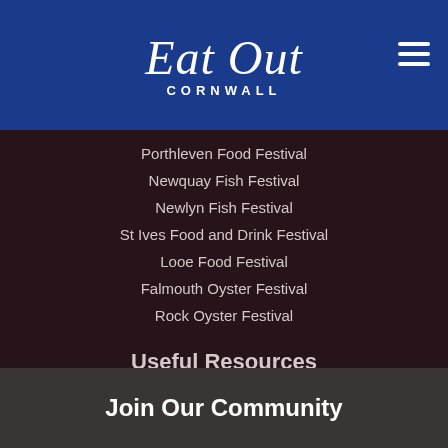[Figure (logo): Eat Out Cornwall logo with script font on blue background]
Porthleven Food Festival
Newquay Fish Festival
Newlyn Fish Festival
St Ives Food and Drink Festival
Looe Food Festival
Falmouth Oyster Festival
Rock Oyster Festival
Useful Resources
Jobs in Cornwall
Cornwall Food and Drink
Visit Cornwall
2 for 1 Dining
Cornwall Weather
Join Our Community